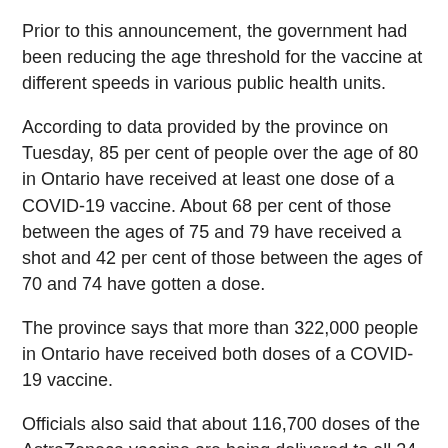Prior to this announcement, the government had been reducing the age threshold for the vaccine at different speeds in various public health units.
According to data provided by the province on Tuesday, 85 per cent of people over the age of 80 in Ontario have received at least one dose of a COVID-19 vaccine. About 68 per cent of those between the ages of 75 and 79 have received a shot and 42 per cent of those between the ages of 70 and 74 have gotten a dose.
The province says that more than 322,000 people in Ontario have received both doses of a COVID-19 vaccine.
Officials also said that about 116,700 doses of the AstraZeneca vaccine are being delivered to all 34 public health units for distribution through primary care sites. Prior to Tuesday, the vaccine was only being delivered to COVID-19 hot spots such as Toronto, Kingston and